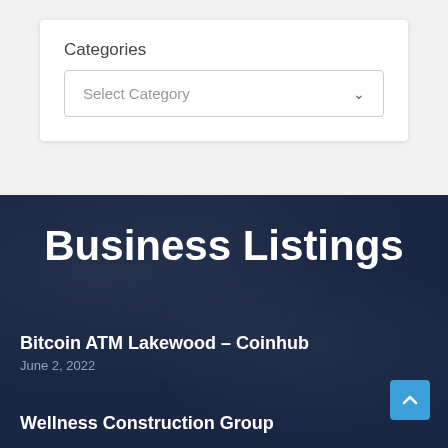Categories
Select Category
Business Listings
Bitcoin ATM Lakewood – Coinhub
June 2, 2022
Wellness Construction Group